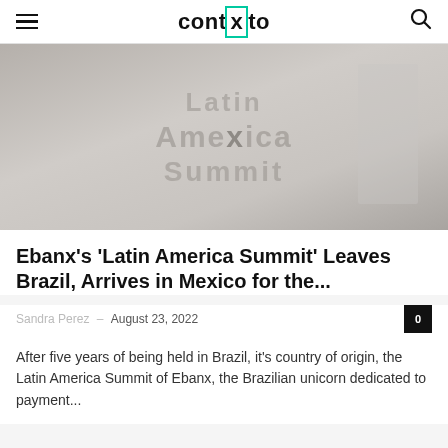contexto
[Figure (photo): Person standing in front of a large 'Latin America Summit' sign/backdrop, with large block letters visible]
Ebanx's 'Latin America Summit' Leaves Brazil, Arrives in Mexico for the...
Sandra Perez – August 23, 2022
After five years of being held in Brazil, it's country of origin, the Latin America Summit of Ebanx, the Brazilian unicorn dedicated to payment...